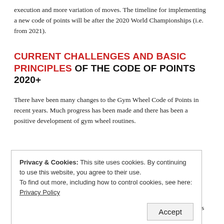execution and more variation of moves. The timeline for implementing a new code of points will be after the 2020 World Championships (i.e. from 2021).
CURRENT CHALLENGES AND BASIC PRINCIPLES OF THE CODE OF POINTS 2020+
There have been many changes to the Gym Wheel Code of Points in recent years. Much progress has been made and there has been a positive development of gym wheel routines.
Privacy & Cookies: This site uses cookies. By continuing to use this website, you agree to their use.
To find out more, including how to control cookies, see here: Privacy Policy
[Accept]
With the Code of Points 2020+ the differences between the disciplines will be reduced. Gymnasts showing lots of